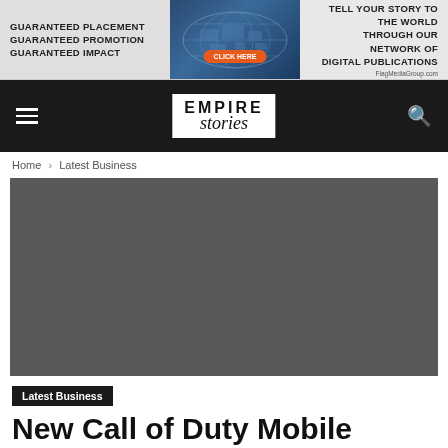[Figure (infographic): Advertisement banner: left side says 'Guaranteed Placement Guaranteed Promotion Guaranteed Impact', center shows a blue world map graphic with a red 'Click Here' button, right side says 'Tell Your Story to the World Through Our Network of Digital Publications' with FlagMediaGroup.com]
EMPIRE stories
Home › Latest Business
[Figure (photo): Dark gray placeholder image for article]
Latest Business
New Call of Duty Mobile